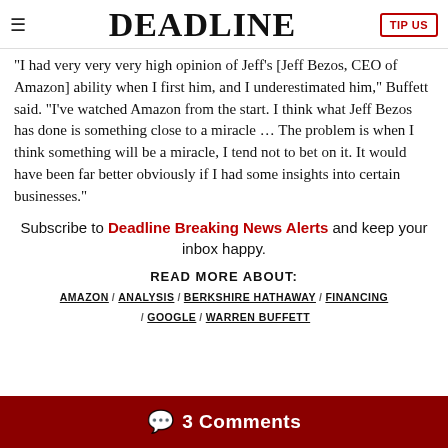DEADLINE
“I had very very very high opinion of Jeff’s [Jeff Bezos, CEO of Amazon] ability when I first him, and I underestimated him,” Buffett said. “I’ve watched Amazon from the start. I think what Jeff Bezos has done is something close to a miracle … The problem is when I think something will be a miracle, I tend not to bet on it. It would have been far better obviously if I had some insights into certain businesses.”
Subscribe to Deadline Breaking News Alerts and keep your inbox happy.
READ MORE ABOUT:
AMAZON / ANALYSIS / BERKSHIRE HATHAWAY / FINANCING / GOOGLE / WARREN BUFFETT
3 Comments